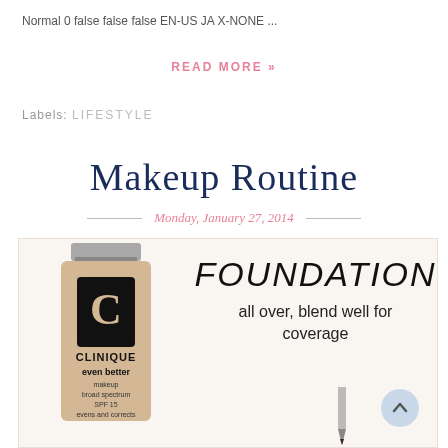Normal 0 false false false EN-US JA X-NONE ...
READ MORE »
Labels: LIFESTYLE
Makeup Routine
Monday, January 27, 2014
[Figure (photo): Blog post image: Left side shows a Clinique 'even better' makeup foundation bottle (broad spectrum SPF 15, evens and corrects). Right side shows handwritten-style text: 'FOUNDATION all over, blend well for coverage'. A pencil tip is visible at the bottom right. A light blue circular scroll-to-top button is at the bottom right corner.]